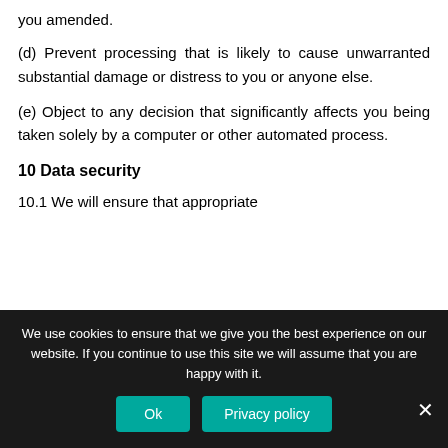you amended.
(d) Prevent processing that is likely to cause unwarranted substantial damage or distress to you or anyone else.
(e) Object to any decision that significantly affects you being taken solely by a computer or other automated process.
10 Data security
10.1 We will ensure that appropriate
We use cookies to ensure that we give you the best experience on our website. If you continue to use this site we will assume that you are happy with it.